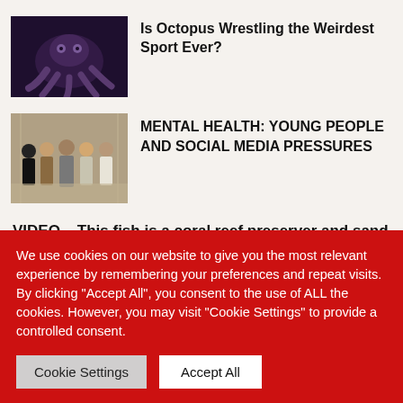[Figure (photo): Close-up photo of an octopus, dark purple/blue tones]
Is Octopus Wrestling the Weirdest Sport Ever?
[Figure (photo): Group of people posing together indoors, ornate interior background]
MENTAL HEALTH: YOUNG PEOPLE AND SOCIAL MEDIA PRESSURES
VIDEO – This fish is a coral reef preserver and sand producer
We use cookies on our website to give you the most relevant experience by remembering your preferences and repeat visits. By clicking "Accept All", you consent to the use of ALL the cookies. However, you may visit "Cookie Settings" to provide a controlled consent.
Cookie Settings
Accept All